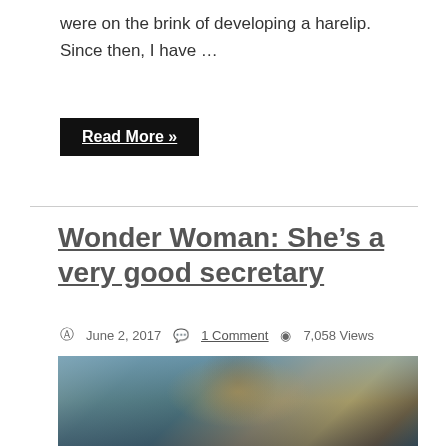were on the brink of developing a harelip. Since then, I have …
Read More »
Wonder Woman: She's a very good secretary
June 2, 2017   1 Comment   7,058 Views
[Figure (photo): Action scene from Wonder Woman movie showing a woman in gold armor wielding a sword and shield]